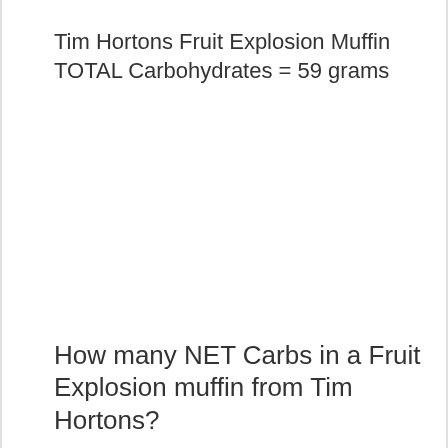Tim Hortons Fruit Explosion Muffin TOTAL Carbohydrates = 59 grams
How many NET Carbs in a Fruit Explosion muffin from Tim Hortons?